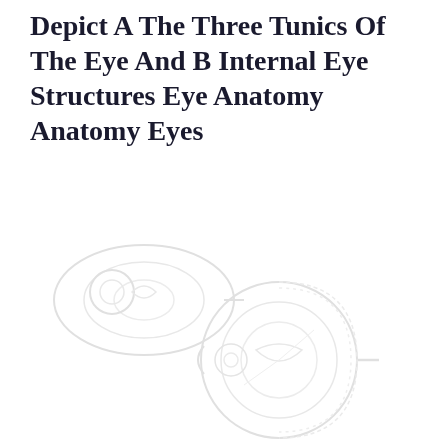Depict A The Three Tunics Of The Eye And B Internal Eye Structures Eye Anatomy Anatomy Eyes
[Figure (illustration): Faint watermark-style illustration of eye anatomy cross-sections showing the three tunics of the eye and internal eye structures, rendered in very light gray on white background.]